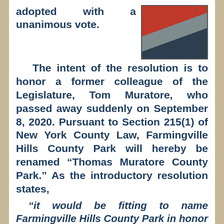adopted with a unanimous vote.
[Figure (photo): Photo of a person wearing a red shirt]
The intent of the resolution is to honor a former colleague of the Legislature, Tom Muratore, who passed away suddenly on September 8, 2020. Pursuant to Section 215(1) of New York County Law, Farmingville Hills County Park will hereby be renamed “Thomas Muratore County Park.” As the introductory resolution states,
“it would be fitting to name Farmingville Hills County Park in honor of Thomas Muratore to acknowledge his contributions to Suffolk County as someone who dedicated his entire life to public service and reached across the aisle to better the lives of County residents,